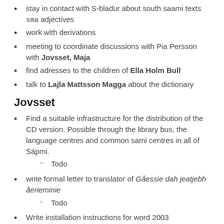stay in contact with S-bladur about south saami texts sma adjectives
work with derivations
meeting to coordinate discussions with Pia Persson with Jovsset, Maja
find adresses to the children of Ella Holm Bull
talk to Lajla Mattsson Magga about the dictionary
Jovsset
Find a suitable infrastructure for the distribution of the CD version. Possible through the library bus, the language centres and common sami centres in all of Sápmi.
Todo
write formal letter to translator of Gåessie dah jeatjebh åerieminie
Todo
Write installation instructions for word 2003
Todo